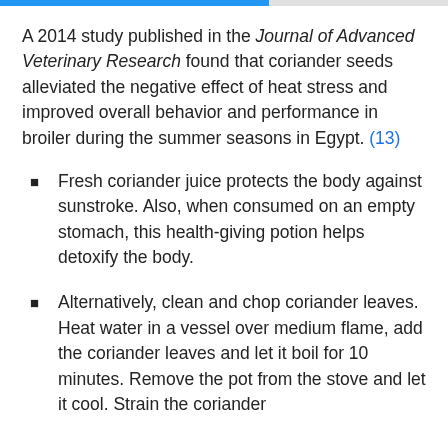A 2014 study published in the Journal of Advanced Veterinary Research found that coriander seeds alleviated the negative effect of heat stress and improved overall behavior and performance in broiler during the summer seasons in Egypt. (13)
Fresh coriander juice protects the body against sunstroke. Also, when consumed on an empty stomach, this health-giving potion helps detoxify the body.
Alternatively, clean and chop coriander leaves. Heat water in a vessel over medium flame, add the coriander leaves and let it boil for 10 minutes. Remove the pot from the stove and let it cool. Strain the coriander